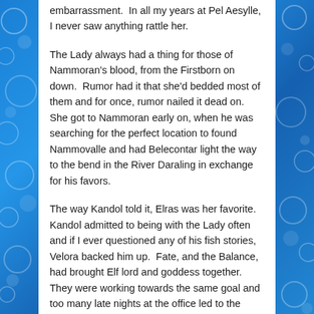embarrassment.  In all my years at Pel Aesylle, I never saw anything rattle her.
The Lady always had a thing for those of Nammoran's blood, from the Firstborn on down.  Rumor had it that she'd bedded most of them and for once, rumor nailed it dead on.  She got to Nammoran early on, when he was searching for the perfect location to found Nammovalle and had Belecontar light the way to the bend in the River Daraling in exchange for his favors.
The way Kandol told it, Elras was her favorite.  Kandol admitted to being with the Lady often and if I ever questioned any of his fish stories, Velora backed him up.  Fate, and the Balance, had brought Elf lord and goddess together.  They were working towards the same goal and too many late nights at the office led to the inevitable.  With Kandol and Celetran, it was all fun and games and both of them understood that.  With Elras, there was more to it, even though she was a goddess.  Elras had that effect on everyone he met.  No one spent time with Elras without being changed in some way.  She even took him